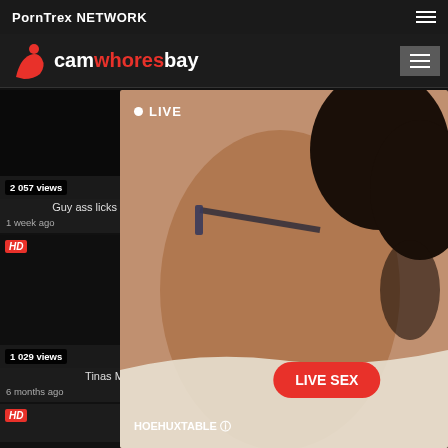PornTrex NETWORK
[Figure (logo): camwhoresbay logo with red silhouette of woman]
2 057 views  ⊙6:15  Guy ass licks then anals  1 week ago  👍 100%
1 468 views  ⊙46:47  Kristy Black - my first double  4 months ago  👍 100%
HD  1 029 views  Tinas Musi  6 months ago
[Figure (photo): Live cam overlay showing woman from behind, with LIVE label, LIVE SEX button, and HOEHUXTABLE text]
HD